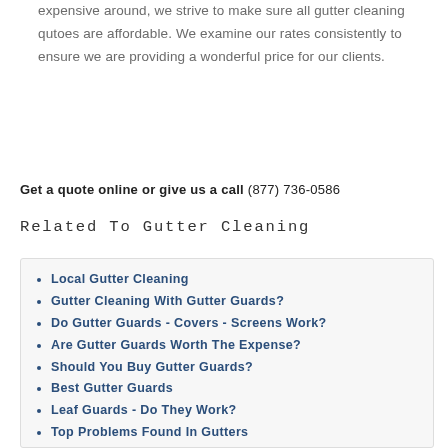expensive around, we strive to make sure all gutter cleaning qutoes are affordable. We examine our rates consistently to ensure we are providing a wonderful price for our clients.
Get a quote online or give us a call (877) 736-0586
Related To Gutter Cleaning
Local Gutter Cleaning
Gutter Cleaning With Gutter Guards?
Do Gutter Guards - Covers - Screens Work?
Are Gutter Guards Worth The Expense?
Should You Buy Gutter Guards?
Best Gutter Guards
Leaf Guards - Do They Work?
Top Problems Found In Gutters